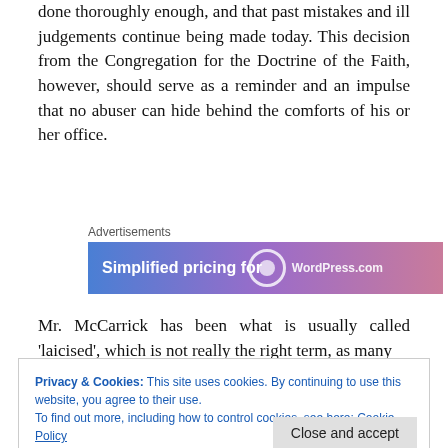done thoroughly enough, and that past mistakes and ill judgements continue being made today. This decision from the Congregation for the Doctrine of the Faith, however, should serve as a reminder and an impulse that no abuser can hide behind the comforts of his or her office.
[Figure (other): Advertisement banner with gradient background (blue to purple) showing 'Simplified pricing for' text and WordPress.com logo]
Mr. McCarrick has been what is usually called 'laicised', which is not really the right term, as many
Privacy & Cookies: This site uses cookies. By continuing to use this website, you agree to their use.
To find out more, including how to control cookies, see here: Cookie Policy
revoked, but he no longer has any rights or duties